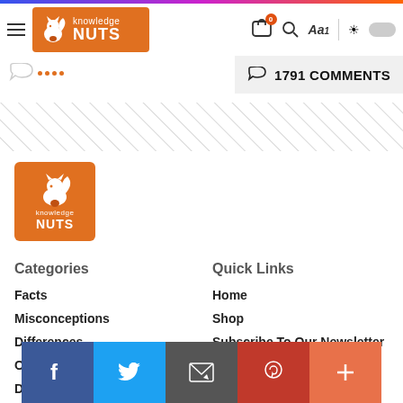Knowledge NUTS - navigation header with logo, cart, search, font size, and theme toggle
1791 COMMENTS
[Figure (illustration): Diagonal parallel lines divider pattern]
[Figure (logo): Knowledge NUTS logo - orange square with squirrel icon, text 'knowledge NUTS']
Categories
Quick Links
Facts
Home
Misconceptions
Shop
Differences
Subscribe To Our Newsletter
Other
Privacy Policy
Social share bar: Facebook, Twitter, Email, Pinterest, More